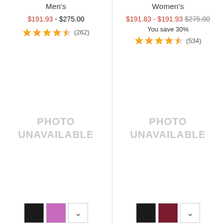Men's
$191.93 - $275.00
★★★★½ (262)
[Figure (photo): PHOTO UNAVAILABLE placeholder for Men's product]
[Figure (photo): Color swatches: black, pink/purple, and a dropdown arrow for Men's]
Women's
$191.83 - $191.93 $275.00 You save 30%
★★★★½ (534)
[Figure (photo): PHOTO UNAVAILABLE placeholder for Women's product]
[Figure (photo): Color swatches: black, burgundy/red, and a dropdown arrow for Women's]